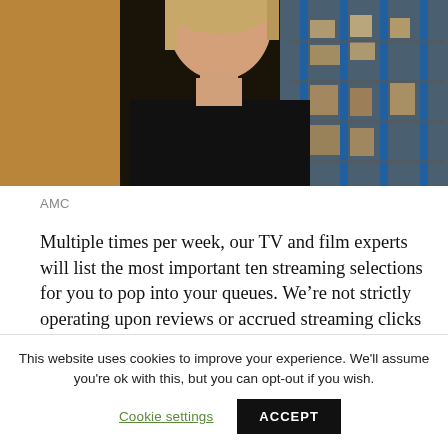[Figure (photo): Photo of a woman in a black top, partially visible from shoulders up, with a warehouse or storage area with blue shelving and boxes in the background. Warm golden/amber tones on the left side.]
AMC
Multiple times per week, our TV and film experts will list the most important ten streaming selections for you to pop into your queues. We’re not strictly operating upon reviews or accrued streaming clicks (although yes, we’ve scoured the streaming site charts and ratings) but, instead, upon those selections that are really worth noticing amid the churning sea of content. There’s a lot out there, after all, and your time is valuable.
This website uses cookies to improve your experience. We'll assume you're ok with this, but you can opt-out if you wish.
Cookie settings
ACCEPT